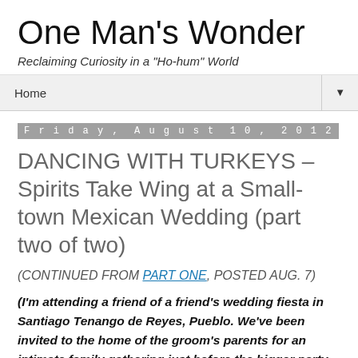One Man's Wonder
Reclaiming Curiosity in a "Ho-hum" World
Home ▼
Friday, August 10, 2012
DANCING WITH TURKEYS – Spirits Take Wing at a Small-town Mexican Wedding (part two of two)
(CONTINUED FROM PART ONE, POSTED AUG. 7)
(I'm attending a friend of a friend's wedding fiesta in Santiago Tenango de Reyes, Pueblo. We've been invited to the home of the groom's parents for an intimate family gathering just before the bigger party begins.)